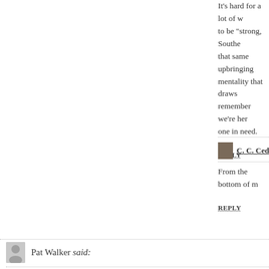It's hard for a lot of w... to be "strong, Southe... that same upbringing... mentality that draws... remember we're her... one in need.
REPLY
C. C. Cedras said:
From the bottom of m...
REPLY
Pat Walker said:
Words from deep in the heart are difficult to share... Love from Mom & Norm
REPLY